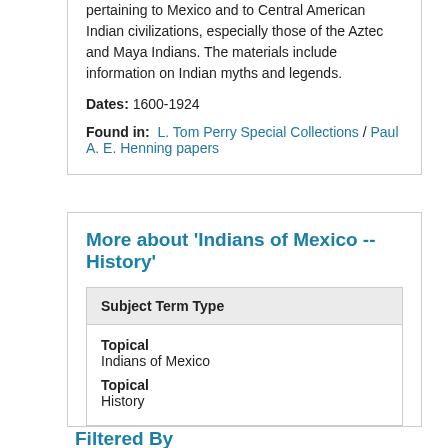pertaining to Mexico and to Central American Indian civilizations, especially those of the Aztec and Maya Indians. The materials include information on Indian myths and legends.
Dates: 1600-1924
Found in: L. Tom Perry Special Collections / Paul A. E. Henning papers
More about 'Indians of Mexico -- History'
| Subject Term Type |
| --- |
| Topical | Indians of Mexico |
| Topical | History |
Filtered By